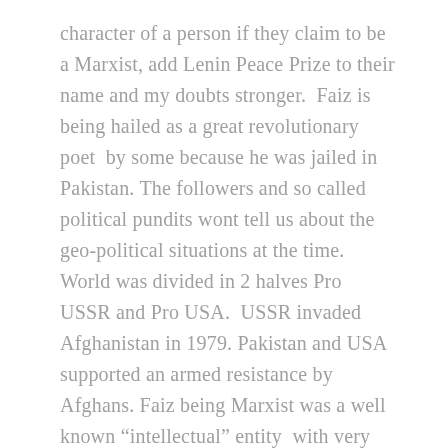character of a person if they claim to be a Marxist, add Lenin Peace Prize to their name and my doubts stronger.  Faiz is being hailed as a great revolutionary poet  by some because he was jailed in Pakistan. The followers and so called political pundits wont tell us about the geo-political situations at the time. World was divided in 2 halves Pro USSR and Pro USA.  USSR invaded Afghanistan in 1979. Pakistan and USA supported an armed resistance by Afghans. Faiz being Marxist was a well known “intellectual” entity  with very pro Soviet views was arrested.  Before that Faiz was arrested for being part of a coup. This so called revolutionary was writing poems in Pro Pak propaganda in 1971 and against India(by default against Bangladesh). He turned a blind eye to atrocities by Pakistani authorities in Bangladesh. As I said, people who claim to be Marxist have a character flaw.